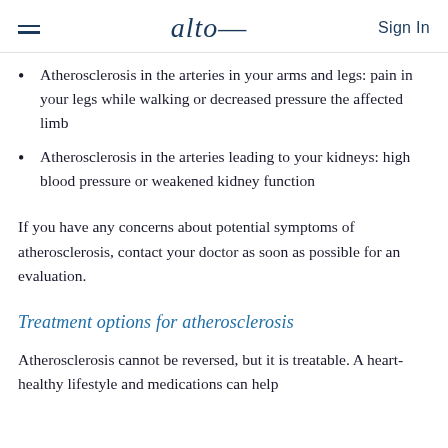alto | Sign In
Atherosclerosis in the arteries in your arms and legs: pain in your legs while walking or decreased pressure the affected limb
Atherosclerosis in the arteries leading to your kidneys: high blood pressure or weakened kidney function
If you have any concerns about potential symptoms of atherosclerosis, contact your doctor as soon as possible for an evaluation.
Treatment options for atherosclerosis
Atherosclerosis cannot be reversed, but it is treatable. A heart-healthy lifestyle and medications can help